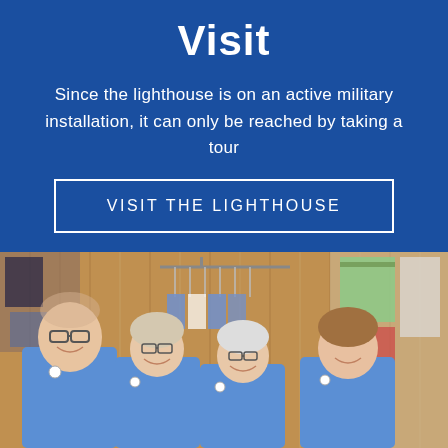Visit
Since the lighthouse is on an active military installation, it can only be reached by taking a tour
VISIT THE LIGHTHOUSE
[Figure (photo): Four volunteers or staff members wearing blue polo shirts standing together inside a gift shop with wood-paneled walls, t-shirts and merchandise visible in the background.]